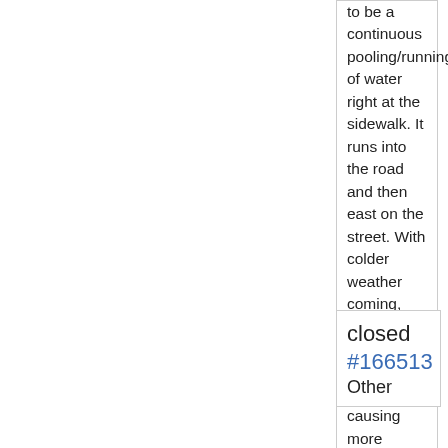to be a continuous pooling/running of water right at the sidewalk. It runs into the road and then east on the street. With colder weather coming, our concern is it freezing and causing more problems.
closed #166513 Other